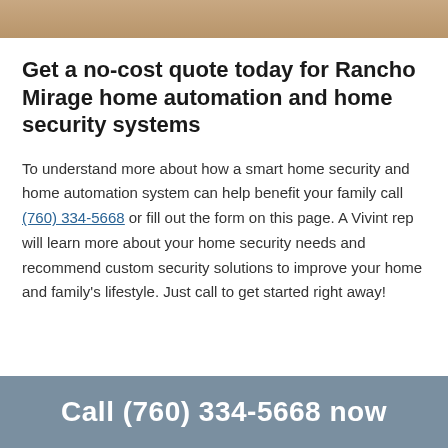[Figure (photo): Partial photo strip at the top of the page showing a warm-toned image (appears to be a person or animal with orange/brown tones)]
Get a no-cost quote today for Rancho Mirage home automation and home security systems
To understand more about how a smart home security and home automation system can help benefit your family call (760) 334-5668 or fill out the form on this page. A Vivint rep will learn more about your home security needs and recommend custom security solutions to improve your home and family's lifestyle. Just call to get started right away!
Call (760) 334-5668 now